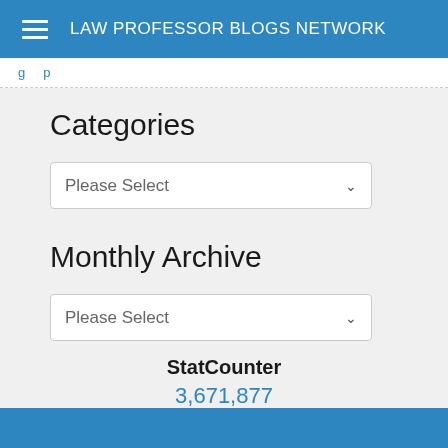LAW PROFESSOR BLOGS NETWORK
Please Select
Categories
Monthly Archive
StatCounter
3,671,877
PageViews
Since November 4, 2004